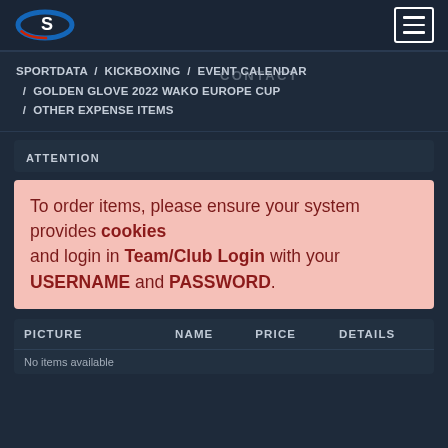[Figure (logo): Sportdata S logo in blue and red oval shape]
SPORTDATA / KICKBOXING / EVENT CALENDAR / GOLDEN GLOVE 2022 WAKO EUROPE CUP / OTHER EXPENSE ITEMS
ATTENTION
To order items, please ensure your system provides cookies and login in Team/Club Login with your USERNAME and PASSWORD.
| PICTURE | NAME | PRICE | DETAILS |
| --- | --- | --- | --- |
| No items available |  |  |  |